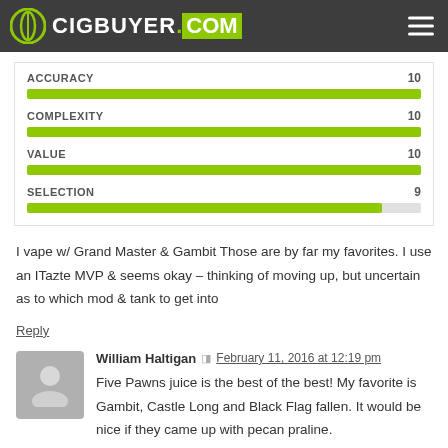CIGBUYER.COM
[Figure (infographic): Rating bars for ACCURACY (10), COMPLEXITY (10), VALUE (10), SELECTION (9) shown as green progress bars]
I vape w/ Grand Master & Gambit Those are by far my favorites. I use an ITazte MVP & seems okay – thinking of moving up, but uncertain as to which mod & tank to get into
Reply
William Haltigan  February 11, 2016 at 12:19 pm
Five Pawns juice is the best of the best! My favorite is Gambit, Castle Long and Black Flag fallen. It would be nice if they came up with pecan praline.